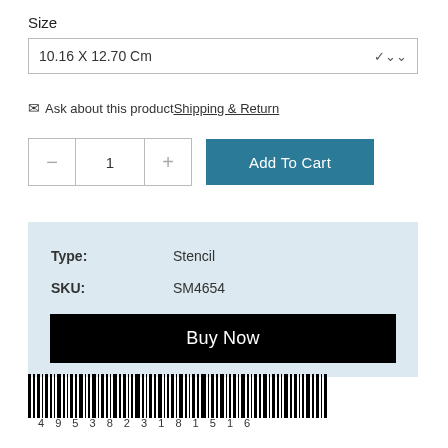Size
10.16 X 12.70 Cm
✉ Ask about this product Shipping & Return
− 1 + Add To Cart
| Type: | Stencil |
| SKU: | SM4654 |
Buy Now
[Figure (other): Barcode with number 4953823181516]